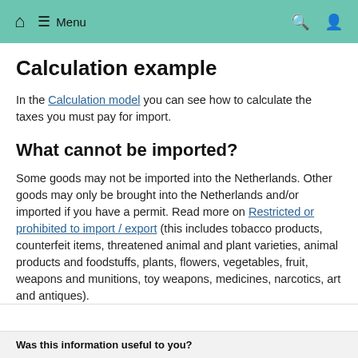Menu
Calculation example
In the Calculation model you can see how to calculate the taxes you must pay for import.
What cannot be imported?
Some goods may not be imported into the Netherlands. Other goods may only be brought into the Netherlands and/or imported if you have a permit. Read more on Restricted or prohibited to import / export (this includes tobacco products, counterfeit items, threatened animal and plant varieties, animal products and foodstuffs, plants, flowers, vegetables, fruit, weapons and munitions, toy weapons, medicines, narcotics, art and antiques).
Was this information useful to you?